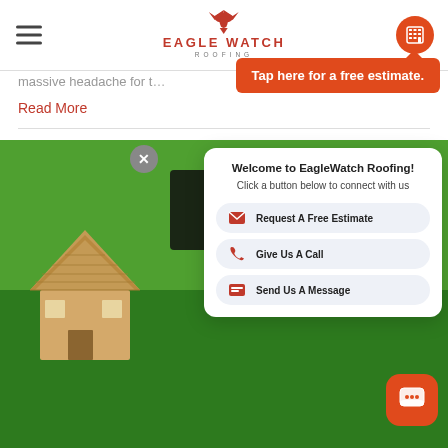Eagle Watch Roofing
massive headache for t...
Read More
[Figure (screenshot): Eagle Watch Roofing website screenshot showing header with logo, hamburger menu, calculator button, orange 'Tap here for a free estimate' banner, a chat popup with 'Welcome to EagleWatch Roofing! Click a button below to connect with us' and three buttons: Request A Free Estimate, Give Us A Call, Send Us A Message. Bottom half shows a photo of a small wooden toy house on green grass.]